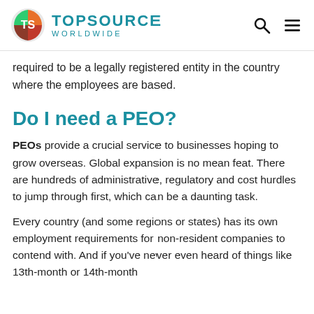TOPSOURCE WORLDWIDE
required to be a legally registered entity in the country where the employees are based.
Do I need a PEO?
PEOs provide a crucial service to businesses hoping to grow overseas. Global expansion is no mean feat. There are hundreds of administrative, regulatory and cost hurdles to jump through first, which can be a daunting task.
Every country (and some regions or states) has its own employment requirements for non-resident companies to contend with. And if you've never even heard of things like 13th-month or 14th-month